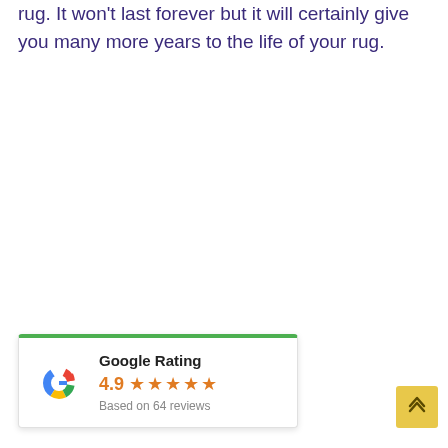rug. It won't last forever but it will certainly give you many more years to the life of your rug.
[Figure (other): Google Rating widget showing 4.9 stars based on 64 reviews, with Google G logo and green top border]
[Figure (other): Yellow scroll-to-top button with upward arrow chevron]